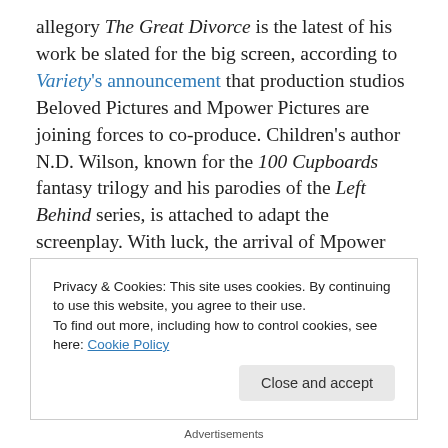allegory The Great Divorce is the latest of his work be slated for the big screen, according to Variety's announcement that production studios Beloved Pictures and Mpower Pictures are joining forces to co-produce. Children's author N.D. Wilson, known for the 100 Cupboards fantasy trilogy and his parodies of the Left Behind series, is attached to adapt the screenplay. With luck, the arrival of Mpower (The Stoning Of Soroya M.) will jump-start the project, and let it avoid the seemingly never-ending gestation plaguing the film adaptation of Lewis' The Screwtape Letters, which was announced back in 2006...
Privacy & Cookies: This site uses cookies. By continuing to use this website, you agree to their use. To find out more, including how to control cookies, see here: Cookie Policy